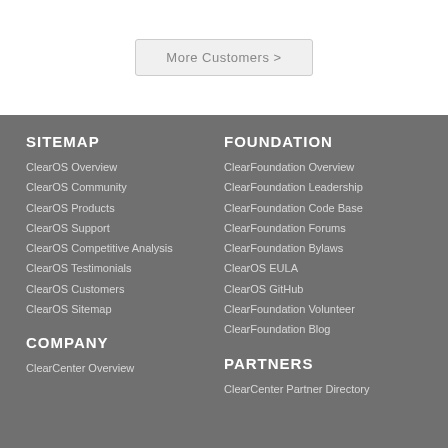More Customers >
SITEMAP
ClearOS Overview
ClearOS Community
ClearOS Products
ClearOS Support
ClearOS Competitive Analysis
ClearOS Testimonials
ClearOS Customers
ClearOS Sitemap
FOUNDATION
ClearFoundation Overview
ClearFoundation Leadership
ClearFoundation Code Base
ClearFoundation Forums
ClearFoundation Bylaws
ClearOS EULA
ClearOS GitHub
ClearFoundation Volunteer
ClearFoundation Blog
COMPANY
ClearCenter Overview
PARTNERS
ClearCenter Partner Directory